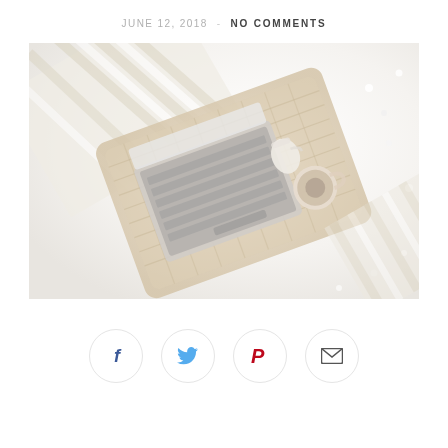JUNE 12, 2018  -  NO COMMENTS
[Figure (photo): Overhead/flat-lay photo of a laptop computer on a wicker/rattan tray with a coffee cup and small jug, placed on a white textured surface with a striped fabric/blanket and fairy lights visible around it.]
[Figure (infographic): Row of four circular social sharing buttons: Facebook (f icon, blue), Twitter (bird icon, light blue), Pinterest (P icon, red), Email (envelope icon, dark gray).]